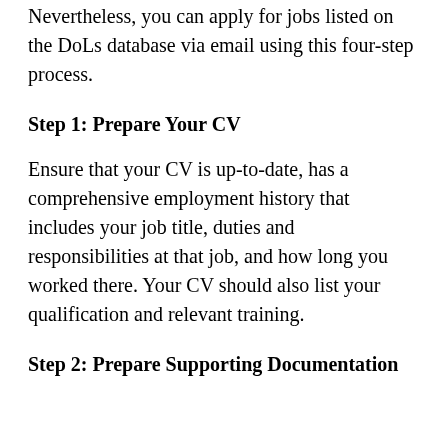Nevertheless, you can apply for jobs listed on the DoLs database via email using this four-step process.
Step 1: Prepare Your CV
Ensure that your CV is up-to-date, has a comprehensive employment history that includes your job title, duties and responsibilities at that job, and how long you worked there. Your CV should also list your qualification and relevant training.
Step 2: Prepare Supporting Documentation